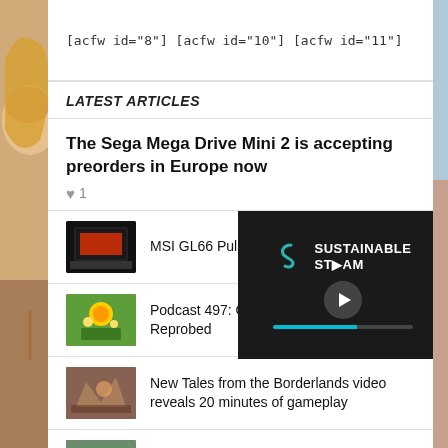[acfw id="8"] [acfw id="10"] [acfw id="11"]
LATEST ARTICLES
The Sega Mega Drive Mini 2 is accepting preorders in Europe now
♥ 1
MSI GL66 Pulse review
Podcast 497: Ooblets, The Humans! 2 – Reprobed
New Tales from the Borderlands video reveals 20 minutes of gameplay
New Poison type Pokemon Grafaiai is coming to Pokemon Scarlet and Violet
[Figure (screenshot): Video overlay with Sustainable Steam logo and play button with progress bar]